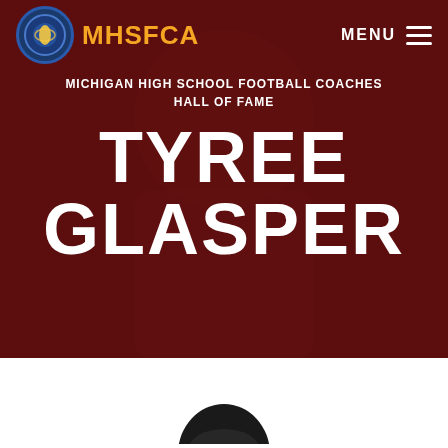MHSFCA
MICHIGAN HIGH SCHOOL FOOTBALL COACHES HALL OF FAME
TYREE GLASPER
[Figure (photo): Partial view of a person's head/hair at the bottom of a white section, suggesting a portrait photo cropped at the bottom of the page.]